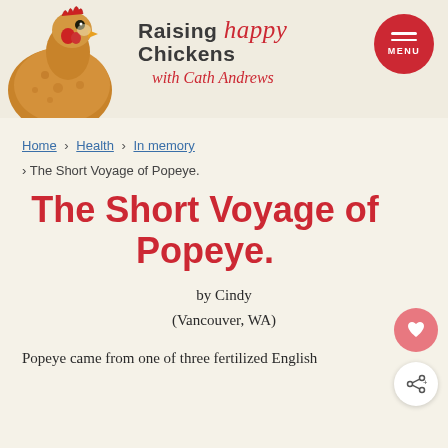[Figure (illustration): Website header banner for 'Raising Happy Chickens with Cath Andrews' showing a rooster/chicken on the left, the site title in the center, and a red circular menu button on the right]
Home › Health › In memory
› The Short Voyage of Popeye.
The Short Voyage of Popeye.
by Cindy
(Vancouver, WA)
Popeye came from one of three fertilized English